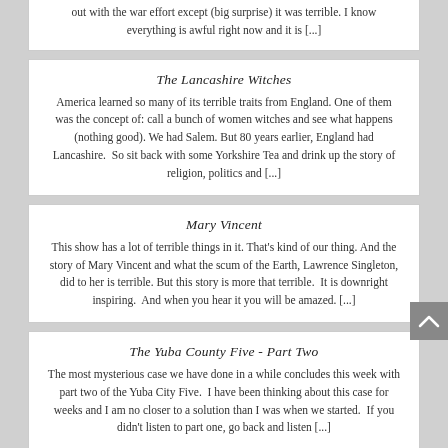out with the war effort except (big surprise) it was terrible. I know everything is awful right now and it is [...]
The Lancashire Witches
America learned so many of its terrible traits from England. One of them was the concept of: call a bunch of women witches and see what happens (nothing good). We had Salem. But 80 years earlier, England had Lancashire.  So sit back with some Yorkshire Tea and drink up the story of religion, politics and [...]
Mary Vincent
This show has a lot of terrible things in it. That's kind of our thing. And the story of Mary Vincent and what the scum of the Earth, Lawrence Singleton, did to her is terrible. But this story is more that terrible.  It is downright inspiring.  And when you hear it you will be amazed. [...]
The Yuba County Five - Part Two
The most mysterious case we have done in a while concludes this week with part two of the Yuba City Five.  I have been thinking about this case for weeks and I am no closer to a solution than I was when we started.  If you didn't listen to part one, go back and listen [...]
The...